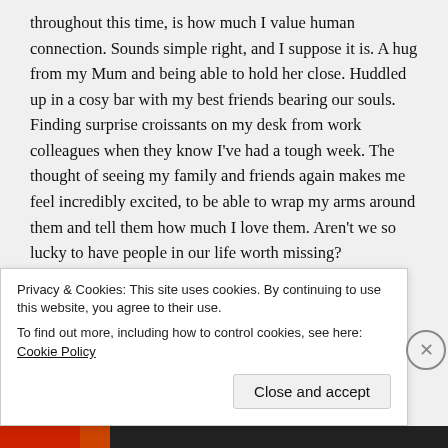throughout this time, is how much I value human connection. Sounds simple right, and I suppose it is. A hug from my Mum and being able to hold her close. Huddled up in a cosy bar with my best friends bearing our souls. Finding surprise croissants on my desk from work colleagues when they know I've had a tough week. The thought of seeing my family and friends again makes me feel incredibly excited, to be able to wrap my arms around them and tell them how much I love them. Aren't we so lucky to have people in our life worth missing?
For anyone who hasn't tried it, FaceTime and Zoom play
Privacy & Cookies: This site uses cookies. By continuing to use this website, you agree to their use.
To find out more, including how to control cookies, see here: Cookie Policy
Close and accept